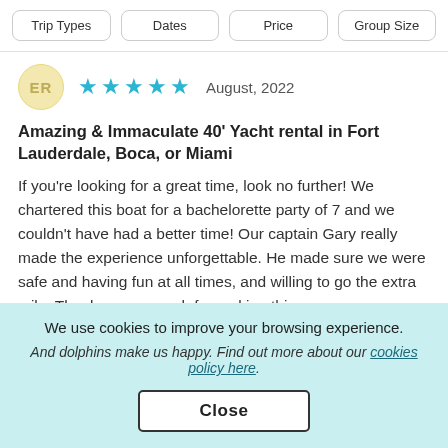Trip Types | Dates | Price | Group Size
[Figure (other): User avatar circle with initials ER in gold/yellow]
★★★★★  August, 2022
Amazing & Immaculate 40' Yacht rental in Fort Lauderdale, Boca, or Miami
If you're looking for a great time, look no further! We chartered this boat for a bachelorette party of 7 and we couldn't have had a better time! Our captain Gary really made the experience unforgettable. He made sure we were safe and having fun at all times, and willing to go the extra mile. Thank you so much for making this one
We use cookies to improve your browsing experience.
And dolphins make us happy. Find out more about our cookies policy here.
Close